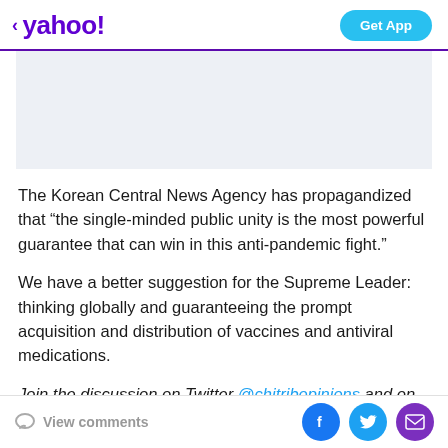< yahoo!   Get App
[Figure (other): Gray advertisement placeholder rectangle]
The Korean Central News Agency has propagandized that “the single-minded public unity is the most powerful guarantee that can win in this anti-pandemic fight.”
We have a better suggestion for the Supreme Leader: thinking globally and guaranteeing the prompt acquisition and distribution of vaccines and antiviral medications.
Join the discussion on Twitter @chitribopinions and on
View comments  [Facebook] [Twitter] [Mail]